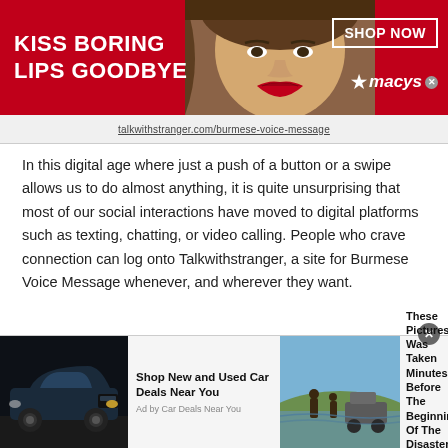[Figure (infographic): Advertisement banner with red background showing 'KISS BORING LIPS GOODBYE' text on left, woman's face in center, and 'SHOP NOW / macy's' on right]
In this digital age where just a push of a button or a swipe allows us to do almost anything, it is quite unsurprising that most of our social interactions have moved to digital platforms such as texting, chatting, or video calling. People who crave connection can log onto Talkwithstranger, a site for Burmese Voice Message whenever, and wherever they want.
The platform brings tremendous advantages to its users which explains the rapid growth of users on a daily basis
[Figure (infographic): Bottom advertisement bar with two ads: 'Shop New and Used Car Deals Near You' by Car Deals Near You, and 'These Pictures Was Taken Minutes Before The Beginning Of The Disaster!' by BillyNews]